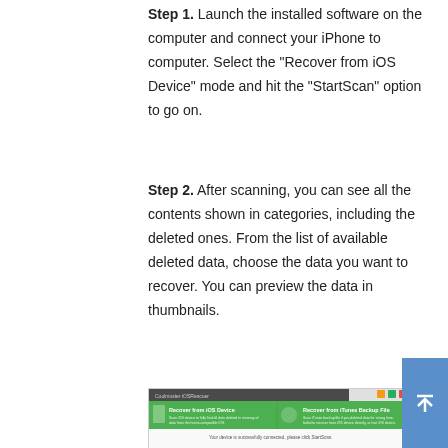Step 1. Launch the installed software on the computer and connect your iPhone to computer. Select the "Recover from iOS Device" mode and hit the "StartScan" option to go on.
Step 2. After scanning, you can see all the contents shown in categories, including the deleted ones. From the list of available deleted data, choose the data you want to recover. You can preview the data in thumbnails.
Step 3. Choose data you want to recover and click on Recover button.
[Figure (screenshot): Screenshot of Coolmuster iOS Rescuer software showing 'Recover from iOS Device' and 'Recover from iTunes Backup File' options, with a message 'Your device is successfully connected, please click StartScan.' and images of a computer and an iPhone.]